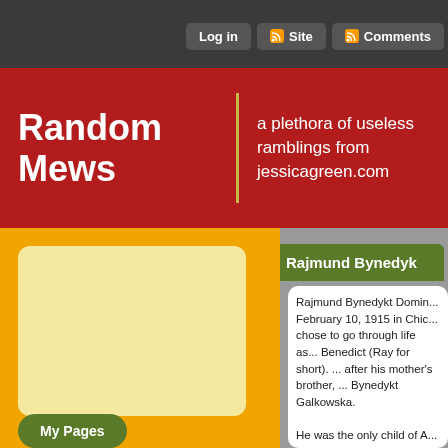Log in | Site | Comments
Random Mews
a plethora of useless ramblings from jessicagreen.com
Rajmund Bynedyk
Rajmund Bynedykt Domin... February 10, 1915 in Chic... chose to go through life as... Benedict (Ray for short).Â ... after his mother's brother,... Bynedykt Galkowska.

He was the only child of A... Galkowska (1889-1970).Â ... respectively.
My Pages